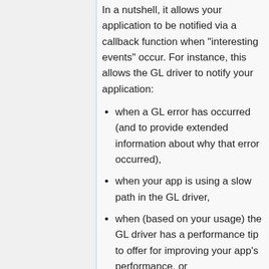In a nutshell, it allows your application to be notified via a callback function when "interesting events" occur. For instance, this allows the GL driver to notify your application:
when a GL error has occurred (and to provide extended information about why that error occurred),
when your app is using a slow path in the GL driver,
when (based on your usage) the GL driver has a performance tip to offer for improving your app's performance, or
when some important state change has occurred in the driver that you might want to know about.
Catching GL errors with this method is much easier than by using glGetError() error checking. Your application is also